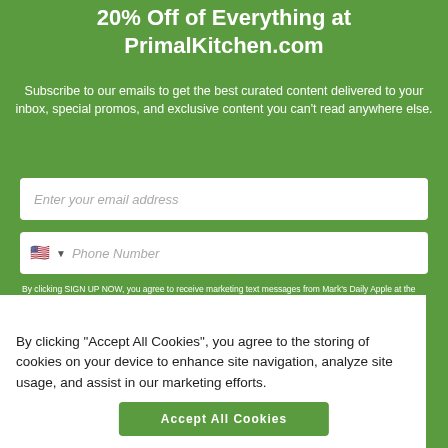20% Off of Everything at PrimalKitchen.com
Subscribe to our emails to get the best curated content delivered to your inbox, special promos, and exclusive content you can't read anywhere else.
Enter your email address
Phone Number
By clicking SIGN UP NOW, you agree to receive marketing text messages from Mark's Daily Apple at the number provided, including messages sent by autodialer. Consent is
By clicking “Accept All Cookies”, you agree to the storing of cookies on your device to enhance site navigation, analyze site usage, and assist in our marketing efforts.
Accept All Cookies